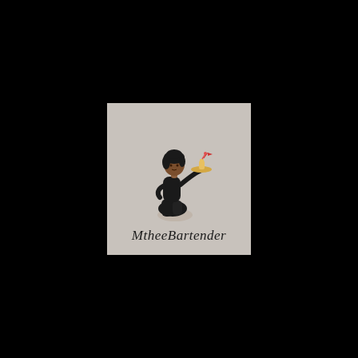[Figure (logo): Logo for MtheeBartender: illustrated woman in black outfit holding a serving tray with drinks, on a warm gray square background, with cursive text 'MtheeBartender' below the illustration.]